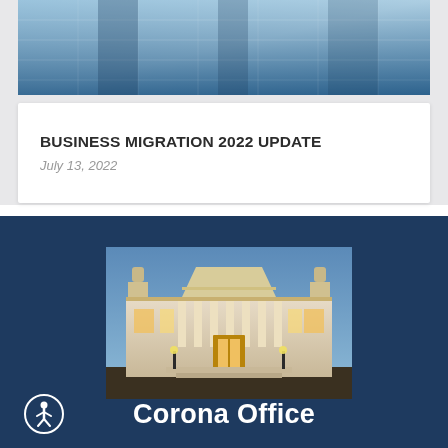[Figure (photo): Abstract blue glass/metallic building facade banner image at top of page]
BUSINESS MIGRATION 2022 UPDATE
July 13, 2022
[Figure (photo): Photograph of a classical government courthouse building with columns and ornate architecture, lit at dusk with a blue sky background — the Corona Office building]
Corona Office